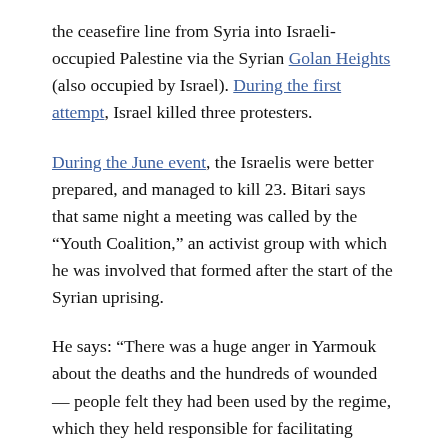the ceasefire line from Syria into Israeli-occupied Palestine via the Syrian Golan Heights (also occupied by Israel). During the first attempt, Israel killed three protesters.
During the June event, the Israelis were better prepared, and managed to kill 23. Bitari says that same night a meeting was called by the “Youth Coalition,” an activist group with which he was involved that formed after the start of the Syrian uprising.
He says: “There was a huge anger in Yarmouk about the deaths and the hundreds of wounded — people felt they had been used by the regime, which they held responsible for facilitating access to the border and then not providing any backup.”
Considering that the regime never allowed such demonstrations until after the uprising started, such suspicions are understandable. However, Bitari presents conflicting